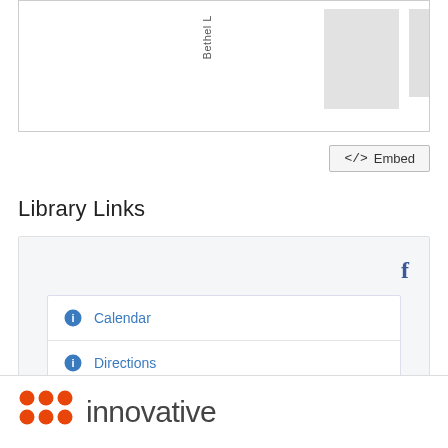[Figure (screenshot): Top portion of a library widget showing a rotated 'Bethel' label and gray image placeholders]
<> Embed
Library Links
[Figure (screenshot): Library Links widget panel with a Facebook icon, Calendar link, and Directions link]
[Figure (logo): Innovative Interfaces logo with orange dot grid and 'innovative' text]